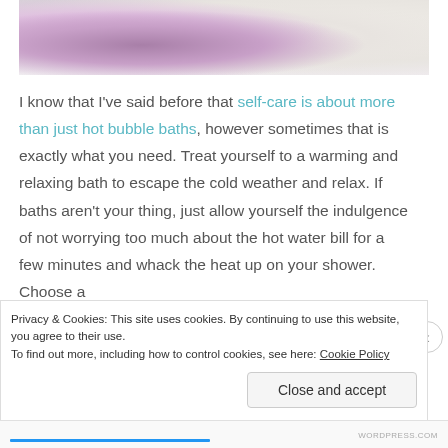[Figure (photo): Photo of orchid flowers and bath/spa items on a light background]
I know that I've said before that self-care is about more than just hot bubble baths, however sometimes that is exactly what you need. Treat yourself to a warming and relaxing bath to escape the cold weather and relax. If baths aren't your thing, just allow yourself the indulgence of not worrying too much about the hot water bill for a few minutes and whack the heat up on your shower. Choose a
Privacy & Cookies: This site uses cookies. By continuing to use this website, you agree to their use.
To find out more, including how to control cookies, see here: Cookie Policy
Close and accept